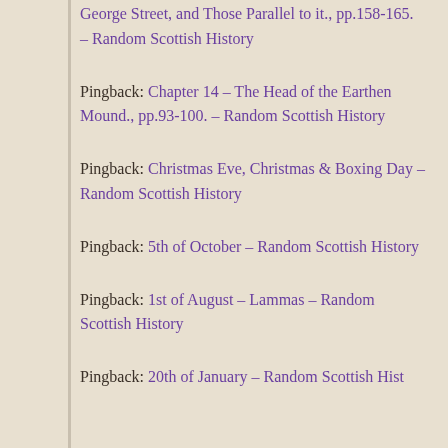George Street, and Those Parallel to it., pp.158-165. – Random Scottish History
Pingback:  Chapter 14 – The Head of the Earthen Mound., pp.93-100. – Random Scottish History
Pingback:  Christmas Eve, Christmas & Boxing Day – Random Scottish History
Pingback:  5th of October – Random Scottish History
Pingback:  1st of August – Lammas – Random Scottish History
Pingback:  20th of January – Random Scottish History